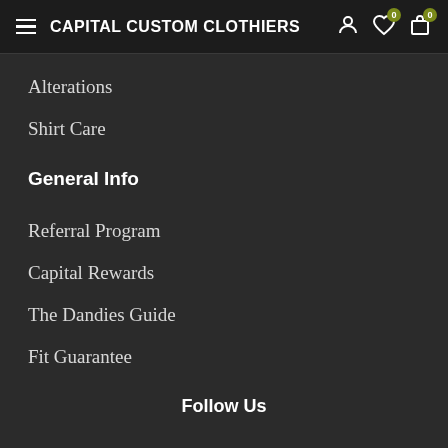CAPITAL CUSTOM CLOTHIERS
Alterations
Shirt Care
General Info
Referral Program
Capital Rewards
The Dandies Guide
Fit Guarantee
Follow Us